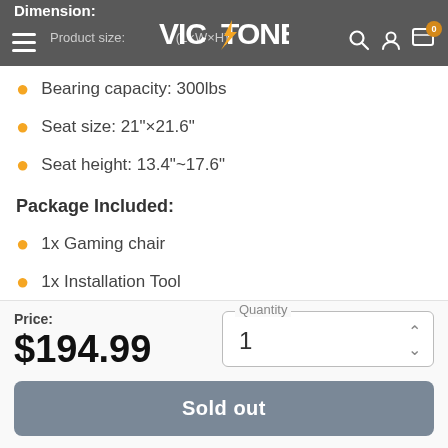Dimension:
VICTONE — navigation bar with hamburger menu, logo, search, account, and cart icons
Product size: [partially obscured] (L×W×H)
Bearing capacity: 300lbs
Seat size: 21"×21.6"
Seat height: 13.4"~17.6"
Package Included:
1x Gaming chair
1x Installation Tool
— View less
Price: $194.99
Quantity: 1
Sold out